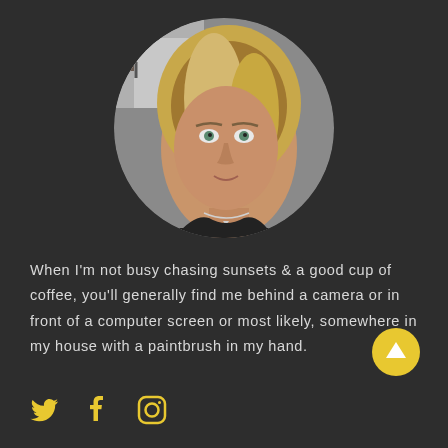[Figure (photo): Circular cropped profile photo of a woman with blonde highlights, smiling slightly, wearing a black top and a delicate necklace, indoors.]
When I'm not busy chasing sunsets & a good cup of coffee, you'll generally find me behind a camera or in front of a computer screen or most likely, somewhere in my house with a paintbrush in my hand.
[Figure (infographic): Yellow circular button with a white upward arrow icon.]
[Figure (infographic): Yellow social media icons: Twitter bird, Facebook f, and Instagram camera outline.]